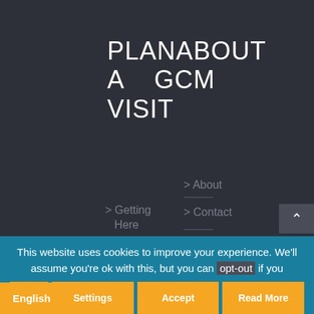PLAN ABOUT A GCM VISIT
> About
> Getting Here
> Contact
> Floor Plan
> Collection's Care
> Resources
> Accessibility
This website uses cookies to improve your experience. We'll assume you're ok with this, but you can opt-out if you
English  Settings  Accept  Read More